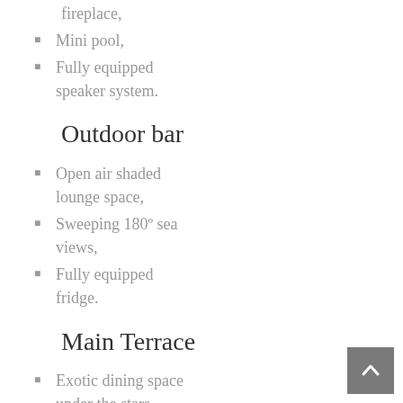fireplace,
Mini pool,
Fully equipped speaker system.
Outdoor bar
Open air shaded lounge space,
Sweeping 180º sea views,
Fully equipped fridge.
Main Terrace
Exotic dining space under the stars,
Vast chill out with central fireplace,
Exterior speaker